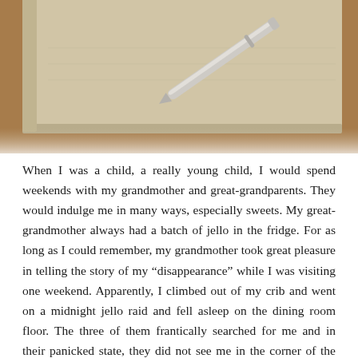[Figure (photo): Close-up photograph of a pen resting on a blank notebook or journal, on a wooden surface. The image is slightly blurred/soft focus with warm tones.]
When I was a child, a really young child, I would spend weekends with my grandmother and great-grandparents.  They would indulge me in many ways, especially sweets.  My great-grandmother always had a batch of jello in the fridge.  For as long as I could remember, my grandmother took great pleasure in telling the story of my “disappearance” while I was visiting one weekend.  Apparently, I climbed out of my crib and went on a midnight jello raid and fell asleep on the dining room floor.  The three of them frantically searched for me and in their panicked state, they did not see me in the corner of the room.  Luckily, they found me before they called the police or worse yet, my parents.  Over the years, we shared many laughs with each retelling of this